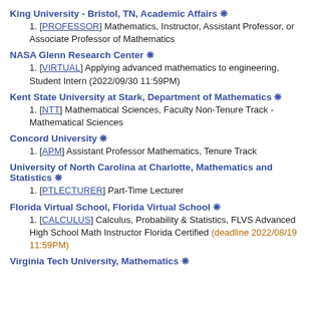King University - Bristol, TN, Academic Affairs ❋
[PROFESSOR] Mathematics, Instructor, Assistant Professor, or Associate Professor of Mathematics
NASA Glenn Research Center ❋
[VIRTUAL] Applying advanced mathematics to engineering, Student Intern (2022/09/30 11:59PM)
Kent State University at Stark, Department of Mathematics ❋
[NTT] Mathematical Sciences, Faculty Non-Tenure Track - Mathematical Sciences
Concord University ❋
[APM] Assistant Professor Mathematics, Tenure Track
University of North Carolina at Charlotte, Mathematics and Statistics ❋
[PTLECTURER] Part-Time Lecturer
Florida Virtual School, Florida Virtual School ❋
[CALCULUS] Calculus, Probability & Statistics, FLVS Advanced High School Math Instructor Florida Certified (deadline 2022/08/19 11:59PM)
Virginia Tech University, Mathematics ❋